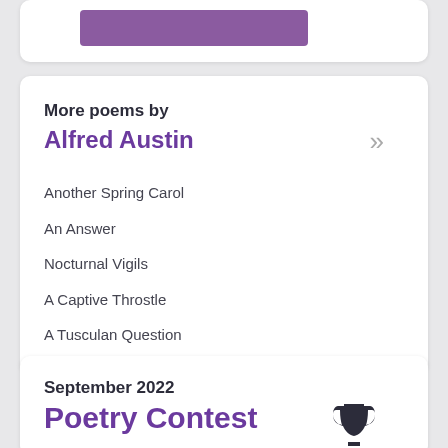[Figure (other): Partial top card with purple bar element]
More poems by Alfred Austin
Another Spring Carol
An Answer
Nocturnal Vigils
A Captive Throstle
A Tusculan Question
September 2022 Poetry Contest
Enter our monthly contest for the chance to win cash prizes and gain recognition for your talent